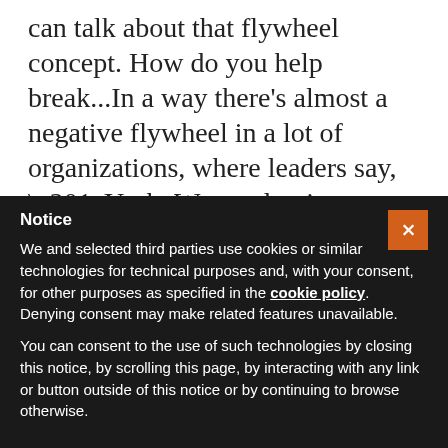can talk about that flywheel concept. How do you help break...In a way there's almost a negative flywheel in a lot of organizations, where leaders say, “Yeah. We need to improve, but we're too busy to improve,” so we get stuck in that cycle of, “We're too busy to improve.” At worse, it becomes more overwhelming.
How do you shift the negative momentum into
Notice
We and selected third parties use cookies or similar technologies for technical purposes and, with your consent, for other purposes as specified in the cookie policy. Denying consent may make related features unavailable.
You can consent to the use of such technologies by closing this notice, by scrolling this page, by interacting with any link or button outside of this notice or by continuing to browse otherwise.